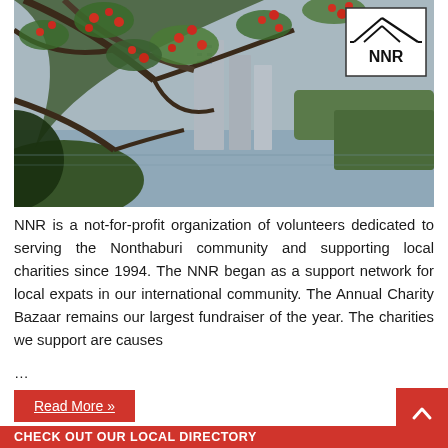[Figure (photo): Outdoor photo showing red flowering tree branches in the foreground against a backdrop of tall buildings near a river or lake, with an NNR logo in the upper right corner on a white box.]
NNR is a not-for-profit organization of volunteers dedicated to serving the Nonthaburi community and supporting local charities since 1994. The NNR began as a support network for local expats in our international community. The Annual Charity Bazaar remains our largest fundraiser of the year. The charities we support are causes
...
Read More »
CHECK OUT OUR LOCAL DIRECTORY